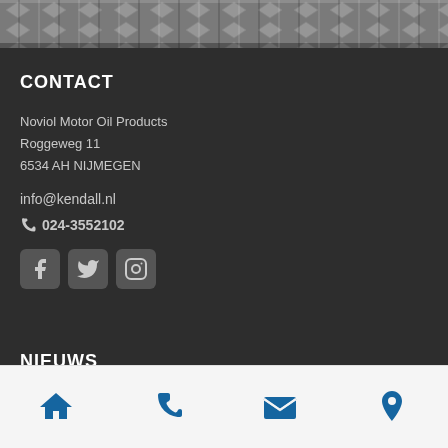[Figure (photo): Metal diamond plate texture strip at the top of the page]
CONTACT
Noviol Motor Oil Products
Roggeweg 11
6534 AH NIJMEGEN
info@kendall.nl
024-3552102
[Figure (infographic): Social media icons: Facebook, Twitter, Instagram]
NIEUWS
[Figure (infographic): Bottom navigation bar with home, phone, email, and location pin icons in blue]